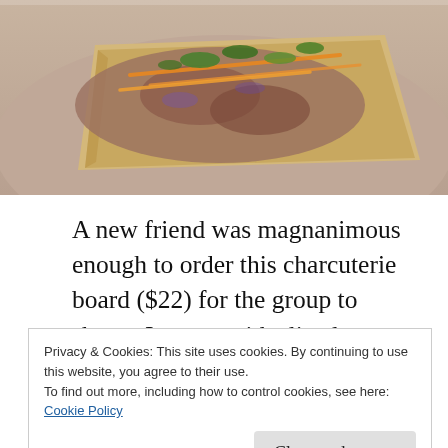[Figure (photo): A flatbread or pizza topped with meat, shredded carrots, greens, and other charcuterie items on a plate.]
A new friend was magnanimous enough to order this charcuterie board ($22) for the group to share.  It came with sliced porchetta di testa (boneless pig head), thick and rich chicken liver pâté (the jar on the right), and chilled spuma di lardo (the jar on top), which is
Privacy & Cookies: This site uses cookies. By continuing to use this website, you agree to their use.
To find out more, including how to control cookies, see here:
Cookie Policy
Close and accept
charcuterie boards for children) create a